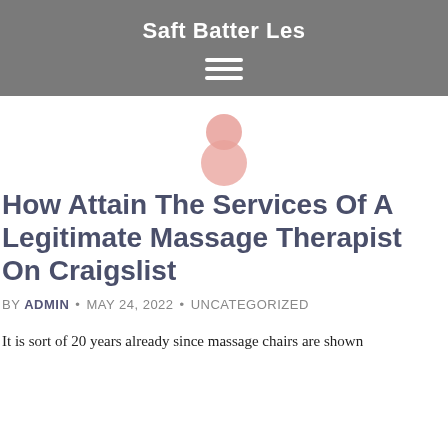Saft Batter Les
[Figure (illustration): Hamburger menu icon (three white horizontal lines) inside a grey header bar]
[Figure (illustration): Two overlapping pink/rose circles forming a human figure icon]
How Attain The Services Of A Legitimate Massage Therapist On Craigslist
BY ADMIN · MAY 24, 2022 · UNCATEGORIZED
It is sort of 20 years already since massage chairs are shown